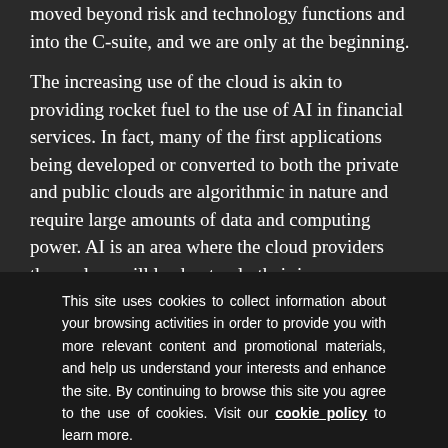moved beyond risk and technology functions and into the C-suite, and we are only at the beginning.
The increasing use of the cloud is akin to providing rocket fuel to the use of AI in financial services. In fact, many of the first applications being developed or converted to both the private and public clouds are algorithmic in nature and require large amounts of data and computing power. AI is an area where the cloud providers themselves will lead not only their immense computing capacity but also their expertise.
This site uses cookies to collect information about your browsing activities in order to provide you with more relevant content and promotional materials, and help us understand your interests and enhance the site. By continuing to browse this site you agree to the use of cookies. Visit our cookie policy to learn more.
What needs to happen
As these new digital labour solutions becom...